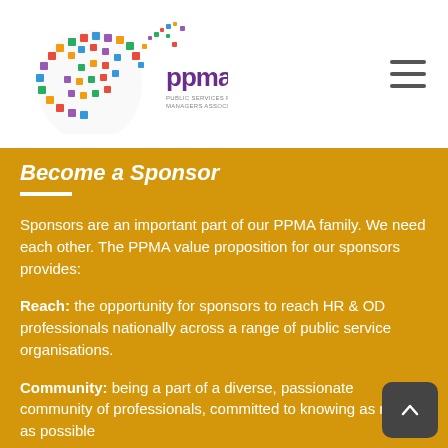[Figure (logo): PPMA colorful brain/head logo with 'ppma' text]
Become a Sponsor
Sponsors are an important part of our PPMA family. We need each other. The PPMA value proposition for our sponsors provides:
Reach: the opportunity for sponsors to reach HR & OD professionals nationally across a range of public service organisations.
Community: being a part of a diverse, passionate community of professionals, committed to knowing as much as possible